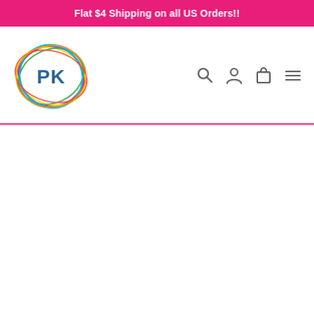Flat $4 Shipping on all US Orders!!
[Figure (logo): PK logo: colorful scribbled circle with 'PK' text in teal/blue in the center]
[Figure (infographic): Navigation icons: search magnifying glass, user/person icon, shopping bag icon, hamburger menu icon]